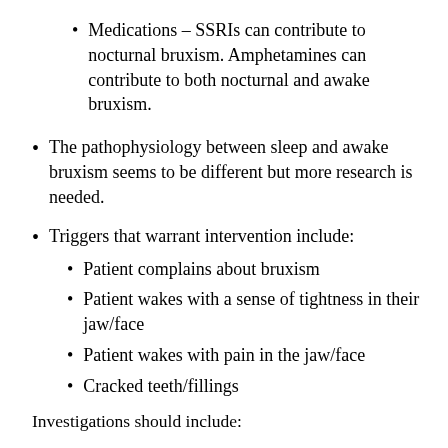Medications – SSRIs can contribute to nocturnal bruxism. Amphetamines can contribute to both nocturnal and awake bruxism.
The pathophysiology between sleep and awake bruxism seems to be different but more research is needed.
Triggers that warrant intervention include:
Patient complains about bruxism
Patient wakes with a sense of tightness in their jaw/face
Patient wakes with pain in the jaw/face
Cracked teeth/fillings
Investigations should include: